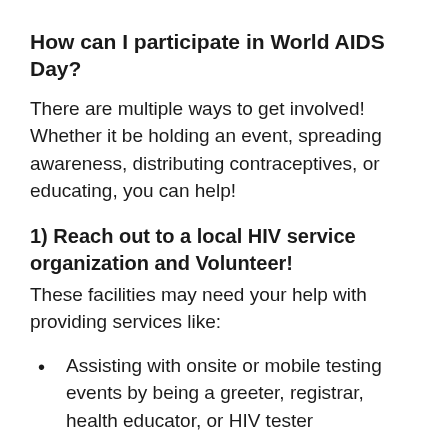How can I participate in World AIDS Day?
There are multiple ways to get involved! Whether it be holding an event, spreading awareness, distributing contraceptives, or educating, you can help!
1) Reach out to a local HIV service organization and Volunteer!
These facilities may need your help with providing services like:
Assisting with onsite or mobile testing events by being a greeter, registrar, health educator, or HIV tester
Providing administrative support, such as filing,